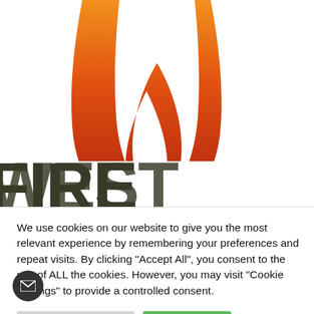[Figure (logo): Westfire logo: a stylized W shape with gradient from orange at top to dark red at bottom, above large bold text 'WESTFIRE' in dark olive/charcoal]
We use cookies on our website to give you the most relevant experience by remembering your preferences and repeat visits. By clicking “Accept All”, you consent to the use of ALL the cookies. However, you may visit "Cookie Settings" to provide a controlled consent.
Cookie Settings
Accept All